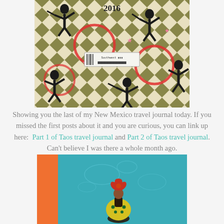[Figure (photo): Close-up of a colorful travel journal cover with Kokopelli figures, geometric triangle pattern in olive/black/white, red circles, pink stars, and a Southwest Airlines boarding pass snippet. Year 2016 visible at top.]
Showing you the last of my New Mexico travel journal today. If you missed the first posts about it and you are curious, you can link up here:  Part 1 of Taos travel journal and Part 2 of Taos travel journal.
Can't believe I was there a whole month ago.
[Figure (photo): Bottom portion of a travel journal page showing a teal/turquoise textured background with an orange spine on the left and a decorative folk-art style figure with a red flower/leaf headdress and yellow dotted clothing.]